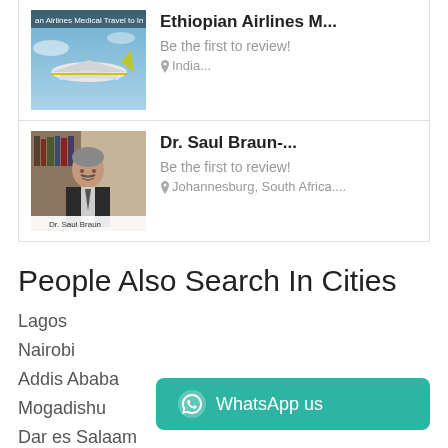[Figure (photo): Ethiopian Airlines Medical Travel plane photo with text overlay]
Ethiopian Airlines M...
Be the first to review!
India...
[Figure (photo): Photo of Dr. Saul Braun in suit with caption Dr. Saul Braun]
Dr. Saul Braun-...
Be the first to review!
Johannesburg, South Africa....
People Also Search In Cities
Lagos
Nairobi
Addis Ababa
Mogadishu
Dar es Salaam
WhatsApp us